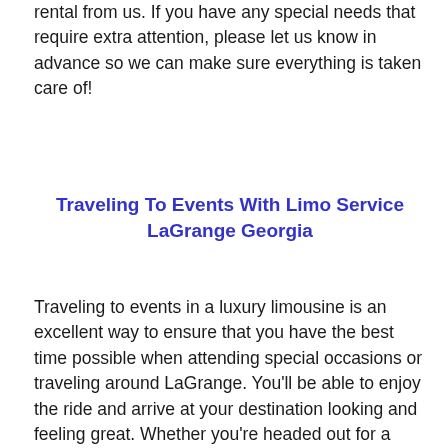rental from us. If you have any special needs that require extra attention, please let us know in advance so we can make sure everything is taken care of!
Traveling To Events With Limo Service LaGrange Georgia
Traveling to events in a luxury limousine is an excellent way to ensure that you have the best time possible when attending special occasions or traveling around LaGrange. You'll be able to enjoy the ride and arrive at your destination looking and feeling great. Whether you're headed out for a concert, sporting event, corporate event or convention, Charter Bus LaGrange has the perfect vehicle for your needs. We offer luxury vehicles from traditional stretch limos such as Lincoln Town